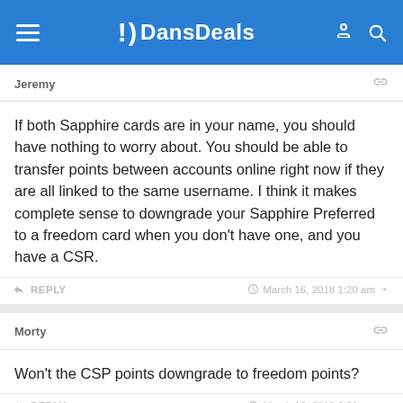DansDeals
Jeremy
If both Sapphire cards are in your name, you should have nothing to worry about. You should be able to transfer points between accounts online right now if they are all linked to the same username. I think it makes complete sense to downgrade your Sapphire Preferred to a freedom card when you don't have one, and you have a CSR.
REPLY  March 16, 2018 1:20 am
Morty
Won't the CSP points downgrade to freedom points?
REPLY  March 16, 2018 6:31 am